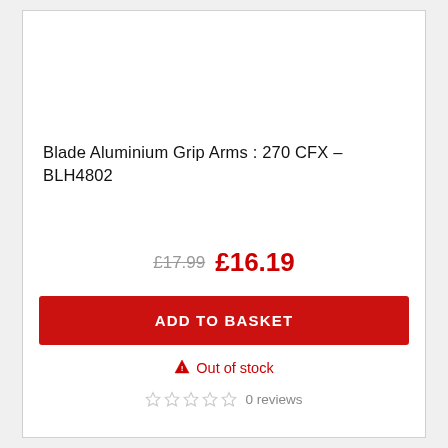Blade Aluminium Grip Arms : 270 CFX – BLH4802
£17.99  £16.19
ADD TO BASKET
⚠ Out of stock
0 reviews